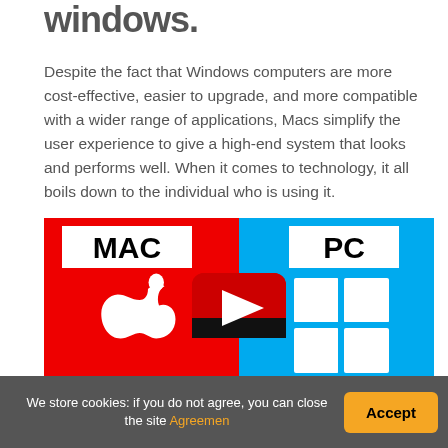windows.
Despite the fact that Windows computers are more cost-effective, easier to upgrade, and more compatible with a wider range of applications, Macs simplify the user experience to give a high-end system that looks and performs well. When it comes to technology, it all boils down to the individual who is using it.
[Figure (illustration): Split image showing MAC (red side with Apple logo) vs PC (blue side with Windows logo) with a YouTube play button overlay in the center]
We store cookies: if you do not agree, you can close the site Agreemen
Accept